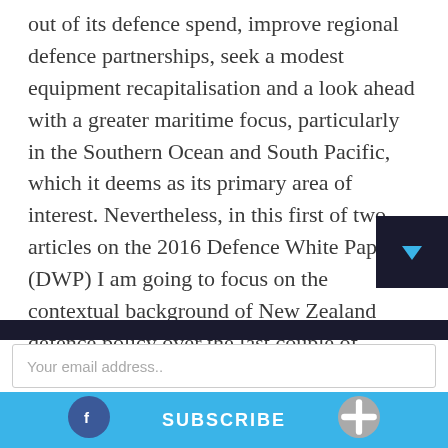out of its defence spend, improve regional defence partnerships, seek a modest equipment recapitalisation and a look ahead with a greater maritime focus, particularly in the Southern Ocean and South Pacific, which it deems as its primary area of interest. Nevertheless, in this first of two articles on the 2016 Defence White Paper (DWP) I am going to focus on the contextual background of New Zealand defence policy over the last couple of decades and why the 2016 DWP has probably the most significance of any of the previous white papers produced since t
Your email address..
SUBSCRIBE